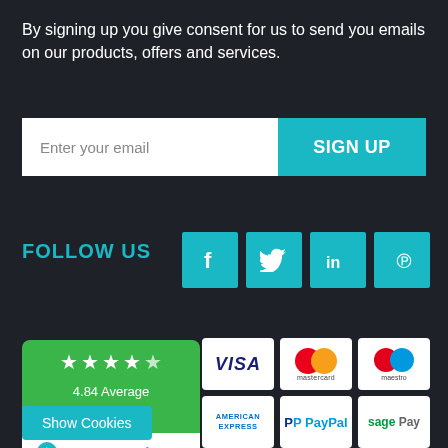By signing up you give consent for us to send you emails on our products, offers and services.
[Figure (infographic): Email signup bar with text input 'Enter your email' and teal 'SIGN UP' button]
FOLLOW US
[Figure (infographic): Social media icons: Facebook, Twitter, LinkedIn, Pinterest in teal squares]
[Figure (infographic): Reviews.io widget showing 5-star rating, 4.84 Average, 1644 Reviews on green background with white Reviews.io logo below]
[Figure (infographic): Payment method icons: VISA, Mastercard, Maestro, American Express, PayPal, Sage Pay]
Show Cookies